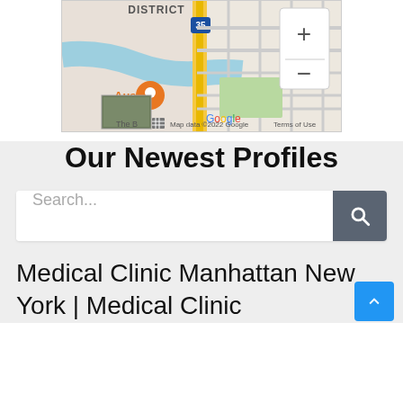[Figure (map): Google Maps screenshot showing Austin area with district label, highway 35, river, location pin, and zoom controls. Shows 'Map data ©2022 Google' and 'Terms of Use' watermarks.]
Our Newest Profiles
Search...
Medical Clinic Manhattan New York | Medical Clinic